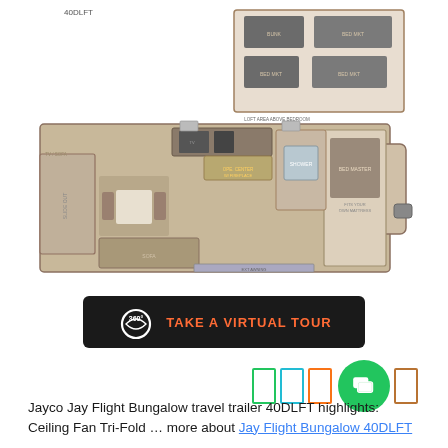[Figure (schematic): RV floor plan for Jayco Jay Flight Bungalow 40DLFT travel trailer showing bunk beds, bedroom, bathroom, kitchen, living areas with slide-outs]
[Figure (other): Black button with 360-degree icon and orange text reading TAKE A VIRTUAL TOUR]
[Figure (other): Color swatch selector showing green, teal, orange, and brown/gold outlined rectangles plus a green chat bubble icon]
Jayco Jay Flight Bungalow travel trailer 40DLFT highlights: Ceiling Fan Tri-Fold … more about Jay Flight Bungalow 40DLFT